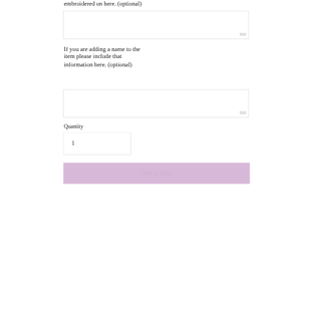embroidered on here. (optional)
[Figure (other): Text input box with character counter showing 500]
If you are adding a name to the item please include that information here. (optional)
[Figure (other): Text input box with character counter showing 500]
Quantity
[Figure (other): Quantity input box showing value 1]
[Figure (other): Add to Cart button with light purple/lavender background]